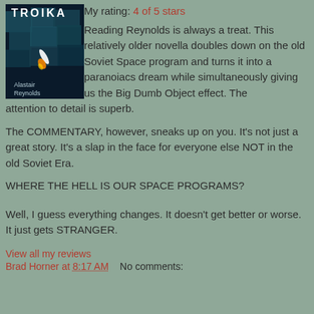[Figure (illustration): Book cover of 'Troika' by Alastair Reynolds — dark blue/teal geometric blocks with a spacecraft and fiery exhaust. Text reads 'TROIKA' at top and 'Alastair Reynolds' at bottom.]
My rating: 4 of 5 stars
Reading Reynolds is always a treat. This relatively older novella doubles down on the old Soviet Space program and turns it into a paranoiacs dream while simultaneously giving us the Big Dumb Object effect. The attention to detail is superb.
The COMMENTARY, however, sneaks up on you. It's not just a great story. It's a slap in the face for everyone else NOT in the old Soviet Era.
WHERE THE HELL IS OUR SPACE PROGRAMS?
Well, I guess everything changes. It doesn't get better or worse. It just gets STRANGER.
View all my reviews
Brad Horner at 8:17 AM    No comments: